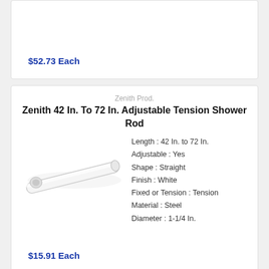$52.73 Each
Zenith Prod.
Zenith 42 In. To 72 In. Adjustable Tension Shower Rod
[Figure (photo): White adjustable tension shower rod, diagonal orientation]
Length : 42 In. to 72 In.
Adjustable : Yes
Shape : Straight
Finish : White
Fixed or Tension : Tension
Material : Steel
Diameter : 1-1/4 In.
$15.91 Each
CSI Donner
Moen 54 In. To 72 In. Adjustable Curved Shower Rod with Mounting Plate